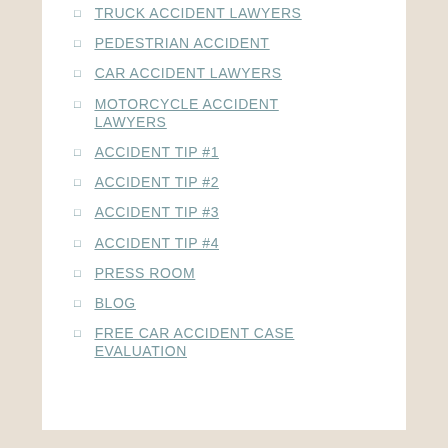TRUCK ACCIDENT LAWYERS
PEDESTRIAN ACCIDENT
CAR ACCIDENT LAWYERS
MOTORCYCLE ACCIDENT LAWYERS
ACCIDENT TIP #1
ACCIDENT TIP #2
ACCIDENT TIP #3
ACCIDENT TIP #4
PRESS ROOM
BLOG
FREE CAR ACCIDENT CASE EVALUATION